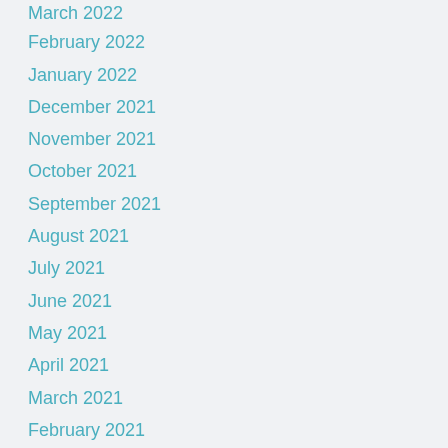March 2022
February 2022
January 2022
December 2021
November 2021
October 2021
September 2021
August 2021
July 2021
June 2021
May 2021
April 2021
March 2021
February 2021
January 2021
December 2020